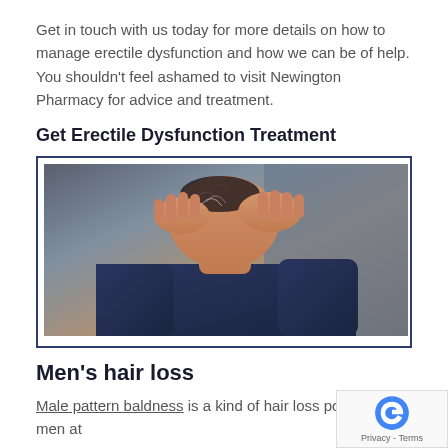Get in touch with us today for more details on how to manage erectile dysfunction and how we can be of help. You shouldn't feel ashamed to visit Newington Pharmacy for advice and treatment.
Get Erectile Dysfunction Treatment
[Figure (photo): A person bending their head forward with both hands on their head, appearing to pull at their hair, showing hair loss on the top of the head. The person is wearing a dark blue jacket.]
Men's hair loss
Male pattern baldness is a kind of hair loss popular in men at